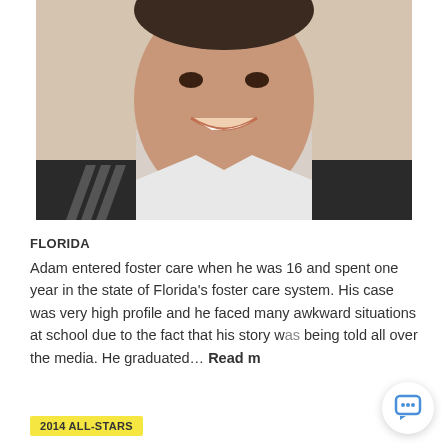[Figure (photo): Close-up portrait photo of a young man smiling, wearing a white top, against a light background]
FLORIDA
Adam entered foster care when he was 16 and spent one year in the state of Florida's foster care system. His case was very high profile and he faced many awkward situations at school due to the fact that his story was being told all over the media. He graduated… Read more
2014 ALL-STARS